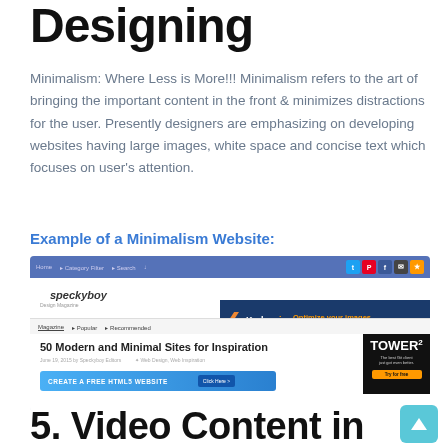Designing
Minimalism: Where Less is More!!! Minimalism refers to the art of bringing the important content in the front & minimizes distractions for the user. Presently designers are emphasizing on developing websites having large images, white space and concise text which focuses on user's attention.
Example of a Minimalism Website:
[Figure (screenshot): Screenshot of speckyboy.com website showing navigation bar, logo, Kraken.io banner ad, category navigation, article title '50 Modern and Minimal Sites for Inspiration', a CREATE A FREE HTML5 WEBSITE button, and Tower2 advertisement]
5. Video Content in